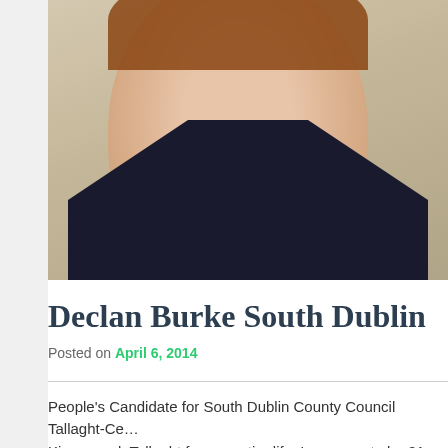[Figure (photo): Close-up portrait photo of a young man with reddish-brown beard stubble, wearing a dark suit jacket and light blue shirt collar visible. Cropped to show lower face, chin, neck and upper chest. Beige/cream wall in background.]
Declan Burke South Dublin
Posted on April 6, 2014
People's Candidate for South Dublin County Council Tallaght-Central Kingswood, Tallaght for my entire life. I am soon to be 21 years...